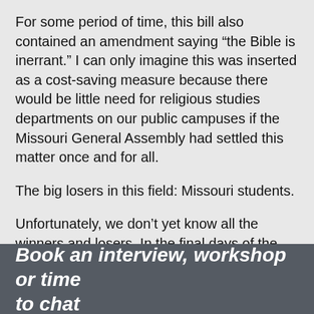For some period of time, this bill also contained an amendment saying “the Bible is inerrant.” I can only imagine this was inserted as a cost-saving measure because there would be little need for religious studies departments on our public campuses if the Missouri General Assembly had settled this matter once and for all.
The big losers in this field: Missouri students.
Unfortunately, we don’t yet know all the winners and losers. In the final days of the session, so much legislation was rushed through that it might take some time to learn the details about who really won and at what cost.
But for now we can all breathe a little easier knowing the craziness won’t start again until January.
Book an interview, workshop or time to chat